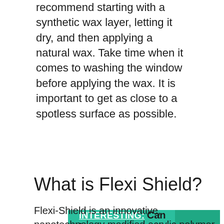recommend starting with a synthetic wax layer, letting it dry, and then applying a natural wax. Take time when it comes to washing the window before applying the wax. It is important to get as close to a spotless surface as possible.
IT IS INTERESTING: Can I trickle charge a car battery while it is connected?
What is Flexi Shield?
Flexi-Shield is an innovative, nanotechnology modified acrylic polymer coating formulated specifically as a refinishing system for weathered and old coated metal roofing,